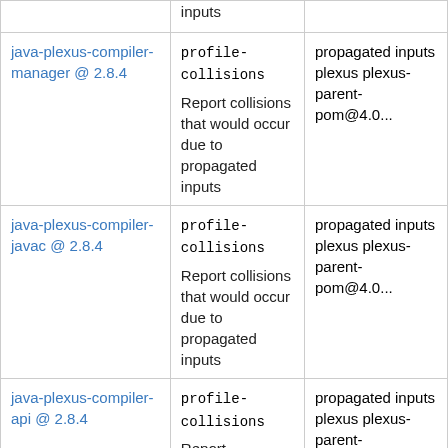| Package | Goal | Details |
| --- | --- | --- |
| [partial row - inputs] | profile-collisions | propagated inputs plexus plexus-parent-pom@4.0... |
| java-plexus-compiler-manager @ 2.8.4 | profile-collisions
Report collisions that would occur due to propagated inputs | propagated inputs plexus plexus-parent-pom@4.0... |
| java-plexus-compiler-javac @ 2.8.4 | profile-collisions
Report collisions that would occur due to propagated inputs | propagated inputs plexus plexus-parent-pom@4.0... |
| java-plexus-compiler-api @ 2.8.4 | profile-collisions
Report | propagated inputs plexus plexus-parent-pom@5.1... |